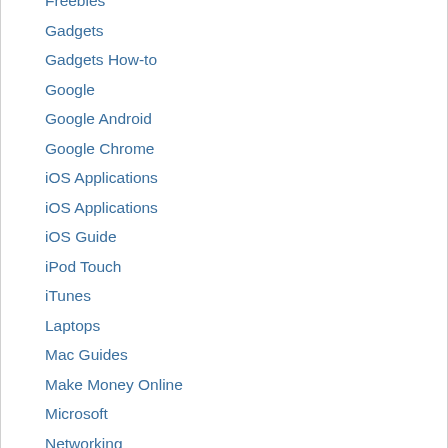Freebies
Gadgets
Gadgets How-to
Google
Google Android
Google Chrome
iOS Applications
iOS Applications
iOS Guide
iPod Touch
iTunes
Laptops
Mac Guides
Make Money Online
Microsoft
Networking
Nokia
Nokia Apps
Online Deals
Online News